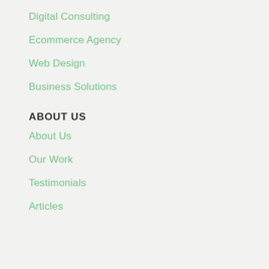Digital Consulting
Ecommerce Agency
Web Design
Business Solutions
ABOUT US
About Us
Our Work
Testimonials
Articles